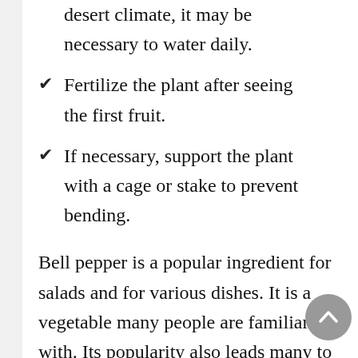desert climate, it may be necessary to water daily.
Fertilize the plant after seeing the first fruit.
If necessary, support the plant with a cage or stake to prevent bending.
Bell pepper is a popular ingredient for salads and for various dishes. It is a vegetable many people are familiar with. Its popularity also leads many to believe the popular myths about this plant. It is easy to believe some